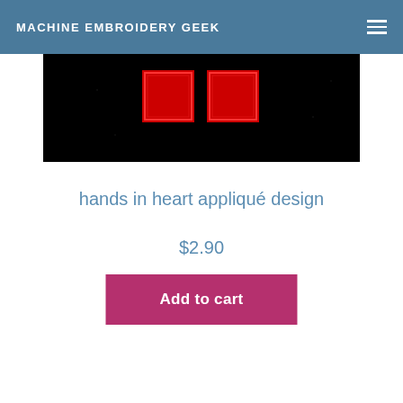MACHINE EMBROIDERY GEEK
[Figure (photo): Product photo showing embroidered red squares on black fabric background, resembling a hands in heart appliqué design]
hands in heart appliqué design
$2.90
Add to cart